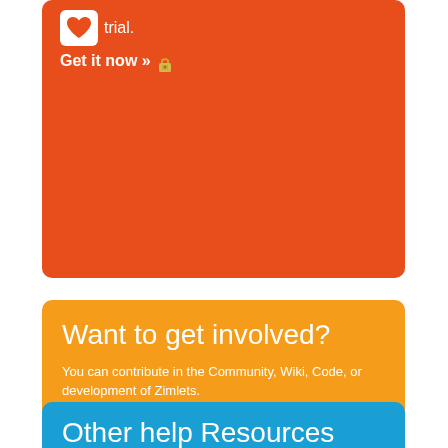trial.
Get it now »
Want to get involved?
You can contribute in the Community, Wiki, Code, or development of Zimlets.
Find out more. »
Other help Resources